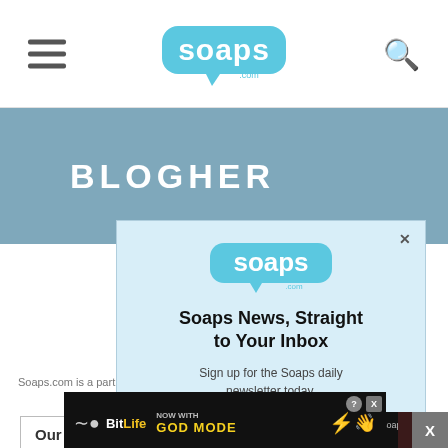soaps.com navigation header with hamburger menu and search icon
[Figure (screenshot): BlogHer banner with teal-blue background and white BLOGHER text]
Soaps.com is a part of   Media, LLC. All Rights
[Figure (screenshot): Newsletter popup: soaps.com logo, 'Soaps News, Straight to Your Inbox' heading, 'Sign up for the Soaps daily newsletter today.' subtitle, email input field, subscribe button]
[Figure (screenshot): Video player overlay showing error: 'The video cannot be played in this browser. (Error Code: 242632)']
Our Bran
[Figure (screenshot): BitLife ad banner: NOW WITH GOD MODE advertisement at bottom of page]